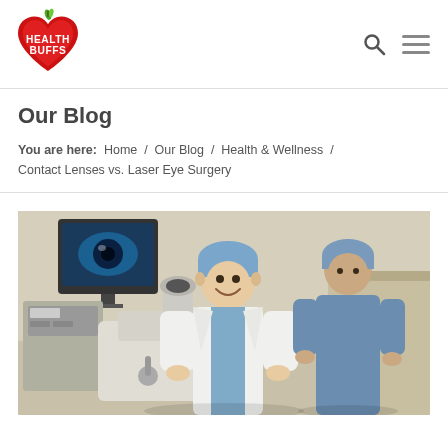Health Buffs — navigation header with logo, search icon, and menu icon
Our Blog
You are here:  Home  /  Our Blog  /  Health & Wellness  /  Contact Lenses vs. Laser Eye Surgery
[Figure (photo): Medical professionals in an operating room: a smiling male doctor in white coat and blue surgical cap stands next to ophthalmology laser equipment with a monitor showing an eye image; a female nurse/assistant in blue scrubs and hair net stands in the background.]